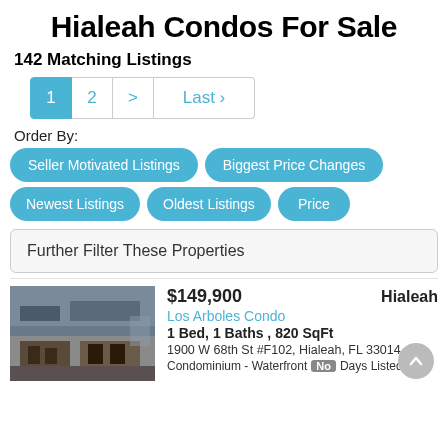Hialeah Condos For Sale
142 Matching Listings
1  2  >  Last ›
Order By:
Seller Motivated Listings
Biggest Price Changes
Newest Listings
Oldest Listings
Price
Further Filter These Properties
$149,900  Hialeah
Los Arboles Condo
1 Bed, 1 Baths , 820 SqFt
1900 W 68th St #F102, Hialeah, FL 33014
Condominium - Waterfront No  Days Listed: